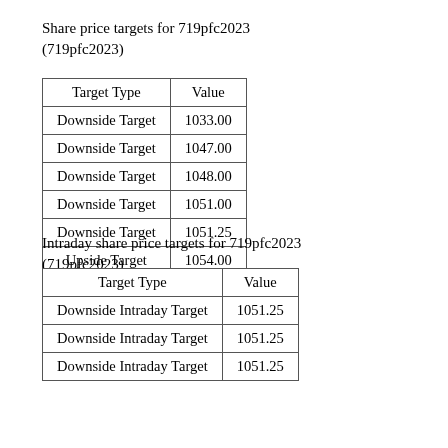Share price targets for 719pfc2023 (719pfc2023)
| Target Type | Value |
| --- | --- |
| Downside Target | 1033.00 |
| Downside Target | 1047.00 |
| Downside Target | 1048.00 |
| Downside Target | 1051.00 |
| Downside Target | 1051.25 |
| Upside Target | 1054.00 |
Intraday share price targets for 719pfc2023 (719pfc2023)
| Target Type | Value |
| --- | --- |
| Downside Intraday Target | 1051.25 |
| Downside Intraday Target | 1051.25 |
| Downside Intraday Target | 1051.25 |